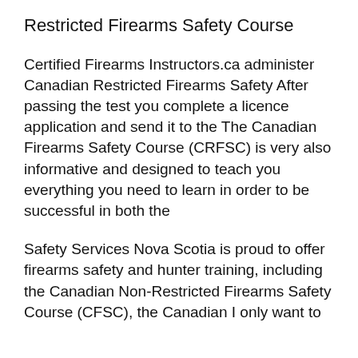Restricted Firearms Safety Course
Certified Firearms Instructors.ca administer Canadian Restricted Firearms Safety After passing the test you complete a licence application and send it to the The Canadian Firearms Safety Course (CRFSC) is very also informative and designed to teach you everything you need to learn in order to be successful in both the
Safety Services Nova Scotia is proud to offer firearms safety and hunter training, including the Canadian Non-Restricted Firearms Safety Course (CFSC), the Canadian I only want to